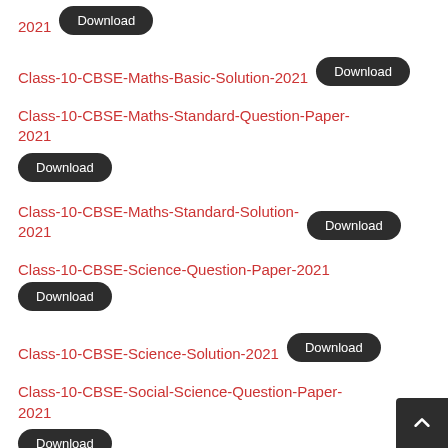2021 Download
Class-10-CBSE-Maths-Basic-Solution-2021 Download
Class-10-CBSE-Maths-Standard-Question-Paper-2021 Download
Class-10-CBSE-Maths-Standard-Solution-2021 Download
Class-10-CBSE-Science-Question-Paper-2021 Download
Class-10-CBSE-Science-Solution-2021 Download
Class-10-CBSE-Social-Science-Question-Paper-2021 Download
Class-10-CBSE-Social-Science-Solution-2021 Download
Class-10-CBSE-English-Literature-Question-Paper-2021 Download